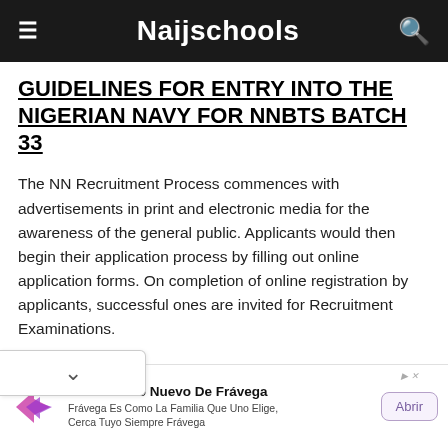Naijschools
GUIDELINES FOR ENTRY INTO THE NIGERIAN NAVY FOR NNBTS BATCH 33
The NN Recruitment Process commences with advertisements in print and electronic media for the awareness of the general public. Applicants would then begin their application process by filling out online application forms. On completion of online registration by applicants, successful ones are invited for Recruitment Examinations.
[Figure (other): Advertisement banner for Frávega: logo with purple arrow, headline 'Descubrí Lo Nuevo De Frávega', subtext 'Frávega Es Como La Familia Que Uno Elige, Cerca Tuyo Siempre Frávega', and an 'Abrir' button.]